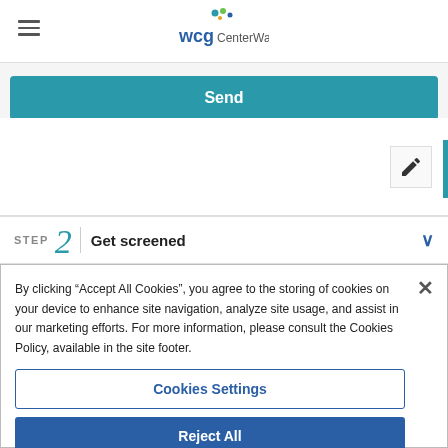[Figure (logo): WCG CenterWatch logo with colorful dots above WCG text and CenterWatch in gray]
Send
[Figure (illustration): Pencil/edit icon in a white box]
STEP 2  Get screened
By clicking “Accept All Cookies”, you agree to the storing of cookies on your device to enhance site navigation, analyze site usage, and assist in our marketing efforts. For more information, please consult the Cookies Policy, available in the site footer.
Cookies Settings
Reject All
Accept All Cookies